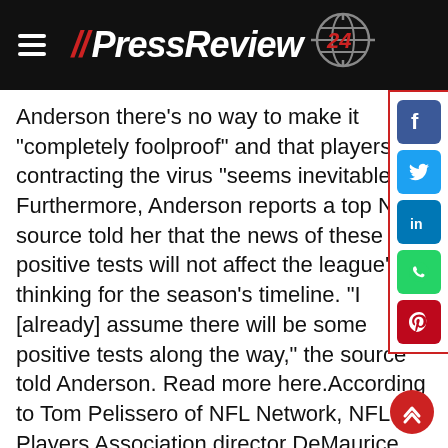// PressReview 24
Anderson there's no way to make it "completely foolproof" and that players contracting the virus "seems inevitable." Furthermore, Anderson reports a top NFL source told her that the news of these positive tests will not affect the league's thinking for the season's timeline. "I [already] assume there will be some positive tests along the way," the source told Anderson. Read more here.According to Tom Pelissero of NFL Network, NFL Players Association director DeMaurice Smith told agents the league is estimating that a season without fans would result in $3 billion less in revenue. It remains unclear if NFL teams will be able to host fans, as the start of the regular season is still nearly three months away. Read more here.A direct consequence of the $3 billion revenue loss could be a lower salary cap. In fact, the NFLPA is bracing players'